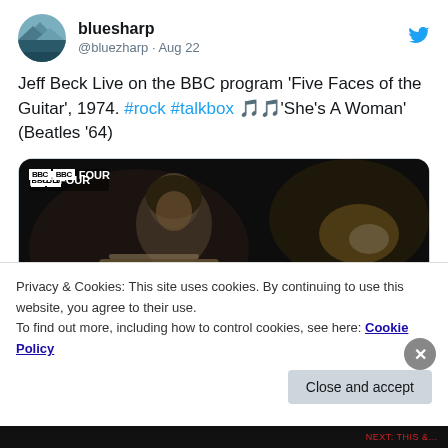[Figure (screenshot): Twitter/X avatar: circular profile photo of a mountain landscape scene]
bluesharp
@bluezharp · Aug 22
Jeff Beck Live on the BBC program 'Five Faces of the Guitar', 1974. #rock #talkbox 🎵🎵'She's A Woman' (Beatles '64)
[Figure (screenshot): Video thumbnail showing BBC FOUR branding and a person playing guitar in low-light black and white footage, with a blue play button overlay]
Privacy & Cookies: This site uses cookies. By continuing to use this website, you agree to their use.
To find out more, including how to control cookies, see here: Cookie Policy